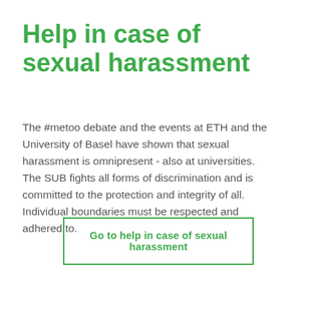Help in case of sexual harassment
The #metoo debate and the events at ETH and the University of Basel have shown that sexual harassment is omnipresent - also at universities. The SUB fights all forms of discrimination and is committed to the protection and integrity of all. Individual boundaries must be respected and adhered to.
Go to help in case of sexual harassment